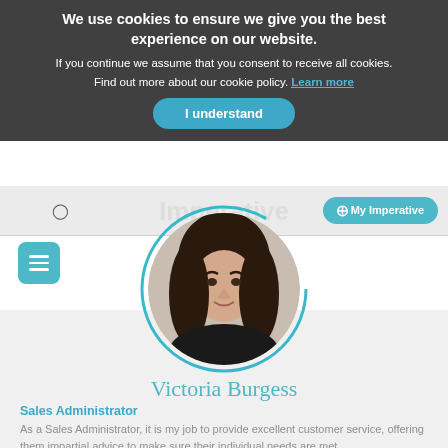We use cookies to ensure we give you the best experience on our website. If you continue we assume that you consent to receive all cookies. Find out more about our cookie policy. Learn more
I understand
My Imperative
[Figure (photo): Profile photo of Victoria Burgess, a woman with dark hair, shown in a circular teal-bordered frame]
Victoria Burgess
Sales Administrator
As a Sales Administrator, it is my job to provide excellent customer service, offering them impartial advice to make sure their individual needs are met.